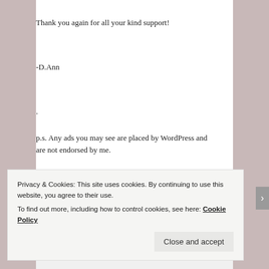Thank you again for all your kind support!
-D.Ann
.
p.s. Any ads you may see are placed by WordPress and are not endorsed by me.
[Figure (infographic): Advertisement banner with bold text 'and a better world.' and a blue 'Apply' button, alongside a circular photo of a person]
Privacy & Cookies: This site uses cookies. By continuing to use this website, you agree to their use.
To find out more, including how to control cookies, see here: Cookie Policy
Close and accept